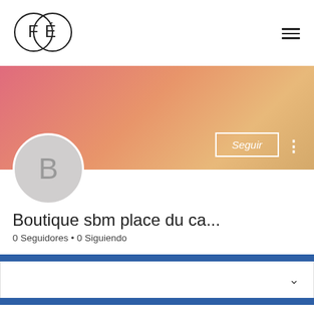[Figure (logo): FÉ logo: two overlapping circles containing the letters F and É]
[Figure (screenshot): User profile banner with gradient background (pink-orange), a grey avatar circle with letter B, a Seguir (Follow) button, and three-dot menu icon]
Boutique sbm place du ca...
0 Seguidores • 0 Siguiendo
[Figure (other): Blue bar section with chevron dropdown]
Perfil
Fecha de registro 10 ... 2020